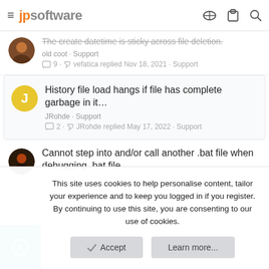jpsoftware
The create datetime is sticky across file deletion. · old coot · Support · 9 · vefatica replied Nov 18, 2021 · Support
History file load hangs if file has complete garbage in it… · JRohde · Support · 2 · JRohde replied May 17, 2022 · Support
Cannot step into and/or call another .bat file when debugging .bat file
This site uses cookies to help personalise content, tailor your experience and to keep you logged in if you register. By continuing to use this site, you are consenting to our use of cookies.
Accept
Learn more...